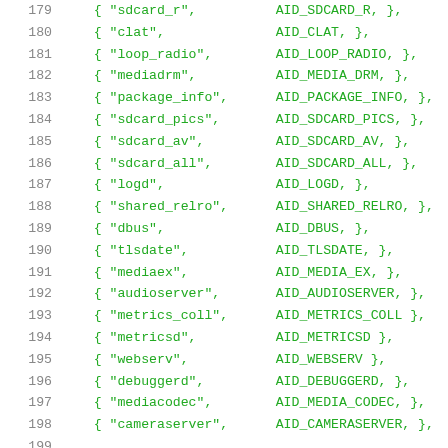179    { "sdcard_r",          AID_SDCARD_R, },
180    { "clat",             AID_CLAT, },
181    { "loop_radio",       AID_LOOP_RADIO, },
182    { "mediadrm",         AID_MEDIA_DRM, },
183    { "package_info",     AID_PACKAGE_INFO, },
184    { "sdcard_pics",      AID_SDCARD_PICS, },
185    { "sdcard_av",        AID_SDCARD_AV, },
186    { "sdcard_all",       AID_SDCARD_ALL, },
187    { "logd",             AID_LOGD, },
188    { "shared_relro",     AID_SHARED_RELRO, },
189    { "dbus",             AID_DBUS, },
190    { "tlsdate",          AID_TLSDATE, },
191    { "mediaex",          AID_MEDIA_EX, },
192    { "audioserver",      AID_AUDIOSERVER, },
193    { "metrics_coll",     AID_METRICS_COLL },
194    { "metricsd",         AID_METRICSD },
195    { "webserv",          AID_WEBSERV },
196    { "debuggerd",        AID_DEBUGGERD, },
197    { "mediacodec",       AID_MEDIA_CODEC, },
198    { "cameraserver",     AID_CAMERASERVER, },
199
200    { "shell",            AID_SHELL, },